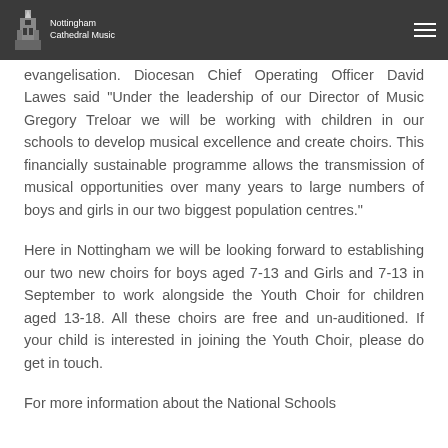Nottingham Cathedral Music
evangelisation. Diocesan Chief Operating Officer David Lawes said "Under the leadership of our Director of Music Gregory Treloar we will be working with children in our schools to develop musical excellence and create choirs. This financially sustainable programme allows the transmission of musical opportunities over many years to large numbers of boys and girls in our two biggest population centres."
Here in Nottingham we will be looking forward to establishing our two new choirs for boys aged 7-13 and Girls and 7-13 in September to work alongside the Youth Choir for children aged 13-18. All these choirs are free and un-auditioned. If your child is interested in joining the Youth Choir, please do get in touch.
For more information about the National Schools